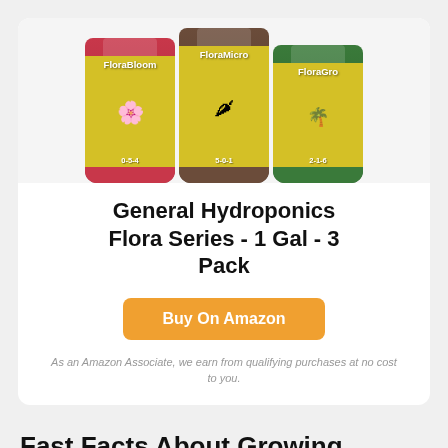[Figure (photo): Three General Hydroponics Flora Series bottles: FloraBloom (0-5-4, pink/red bottle), FloraMicro (5-0-1, brown bottle), FloraGro (2-1-6, green bottle), all with yellow labels]
General Hydroponics Flora Series - 1 Gal - 3 Pack
Buy On Amazon
As an Amazon Associate, we earn from qualifying purchases at no cost to you.
Fast Facts About Growing